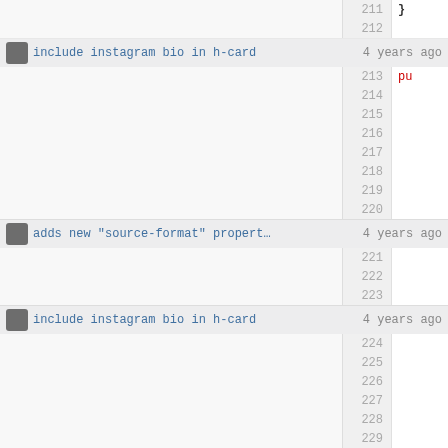[Figure (screenshot): Code viewer screenshot showing commit annotations and line numbers 211-232. Three commit rows are visible: line 211-212 showing '}' on right, lines 213-220 for 'include instagram bio in h-card  4 years ago', lines 221-223 for 'adds new "source-format" propert… 4 years ago', lines 224-232 for 'include instagram bio in h-card  4 years ago' with '}' at line 231.]